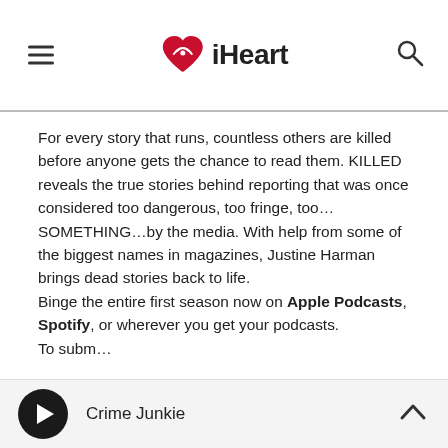iHeart
For every story that runs, countless others are killed before anyone gets the chance to read them. KILLED reveals the true stories behind reporting that was once considered too dangerous, too fringe, too…SOMETHING…by the media. With help from some of the biggest names in magazines, Justine Harman brings dead stories back to life.
Binge the entire first season now on Apple Podcasts, Spotify, or wherever you get your podcasts.
To subm…
Crime Junkie